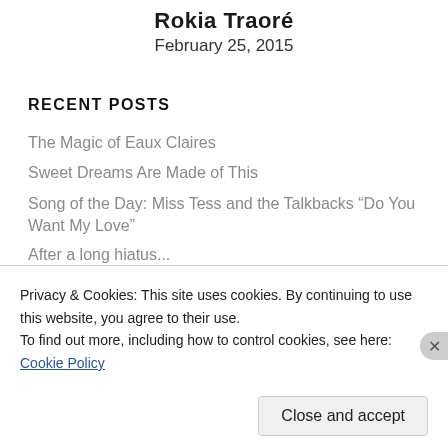Rokia Traoré
February 25, 2015
RECENT POSTS
The Magic of Eaux Claires
Sweet Dreams Are Made of This
Song of the Day: Miss Tess and the Talkbacks “Do You Want My Love”
After a long hiatus
Privacy & Cookies: This site uses cookies. By continuing to use this website, you agree to their use.
To find out more, including how to control cookies, see here: Cookie Policy
Close and accept